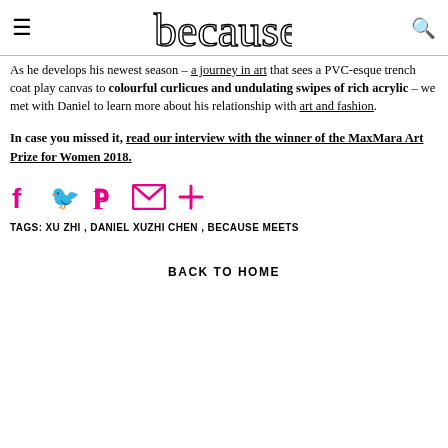because
As he develops his newest season – a journey in art that sees a PVC-esque trench coat play canvas to colourful curlicues and undulating swipes of rich acrylic – we met with Daniel to learn more about his relationship with art and fashion.
In case you missed it, read our interview with the winner of the MaxMara Art Prize for Women 2018.
[Figure (other): Social sharing icons: Facebook, Twitter, Pinterest, Email, Plus in pink/magenta color]
TAGS: XU ZHI , DANIEL XUZHI CHEN , BECAUSE MEETS
BACK TO HOME